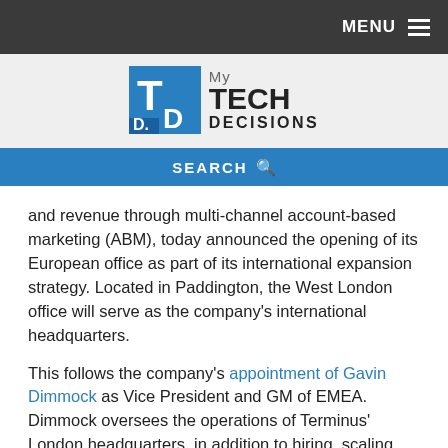MENU
[Figure (logo): My Tech Decisions logo with blue TD icon and text]
SEARCH
and revenue through multi-channel account-based marketing (ABM), today announced the opening of its European office as part of its international expansion strategy. Located in Paddington, the West London office will serve as the company's international headquarters.
This follows the company's appointment of Gavin Dimmock as Vice President and GM of EMEA. Dimmock oversees the operations of Terminus' London headquarters, in addition to hiring, scaling the company's enterprise customer base, and supporting its growing